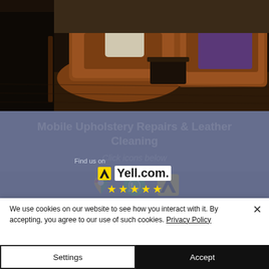[Figure (photo): Photo of two brown leather armchairs in a living room interior with dark wood floors and a purple pillow on one chair]
Mobile Upholstery Repairs & Leather Cleaning
Click icons below
[Figure (infographic): Row of three icons: Google Maps pin (multicolor), WhatsApp logo (green), and a yellow/black triangle arrow logo]
[Figure (logo): Find us on Yell.com logo with yellow star ratings below]
We use cookies on our website to see how you interact with it. By accepting, you agree to our use of such cookies. Privacy Policy
Settings
Accept